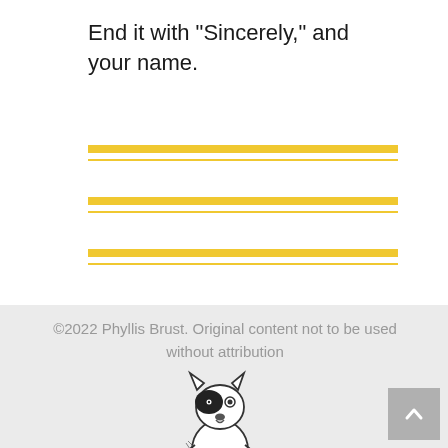End it with "Sincerely," and your name.
[Figure (illustration): Three sets of double horizontal lines (thick golden yellow line above a thin golden yellow line) used as writing lines]
©2022 Phyllis Brust. Original content not to be used without attribution
[Figure (illustration): Simple line drawing of a small dog (Boston Terrier style) with black patch over eye, sitting upright]